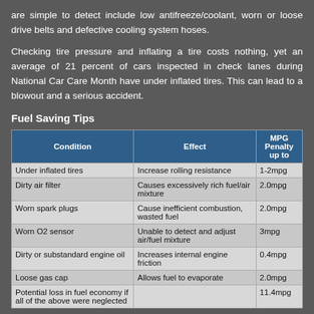are simple to detect include low antifreeze/coolant, worn or loose drive belts and defective cooling system hoses.
Checking tire pressure and inflating a tire costs nothing, yet an average of 21 percent of cars inspected in check lanes during National Car Care Month have under inflated tires. This can lead to a blowout and a serious accident.
Fuel Saving Tips
| Condition | Effect | MPG Penalty up to |
| --- | --- | --- |
| Under inflated tires | Increase rolling resistance | 1-2mpg |
| Dirty air filter | Causes excessively rich fuel/air mixture | 2.0mpg |
| Worn spark plugs | Cause inefficient combustion, wasted fuel | 2.0mpg |
| Worn O2 sensor | Unable to detect and adjust air/fuel mixture | 3mpg |
| Dirty or substandard engine oil | Increases internal engine friction | 0.4mpg |
| Loose gas cap | Allows fuel to evaporate | 2.0mpg |
| Potential loss in fuel economy if all of the above were neglected |  | 11.4mpg |